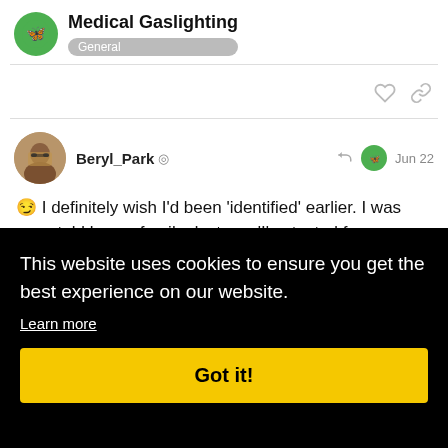Medical Gaslighting — General
Beryl_Park — Jun 22
😏 I definitely wish I'd been 'identified' earlier. I was once told by my family doctor …'I've tested for everything'
This website uses cookies to ensure you get the best experience on our website. Learn more
Got it!